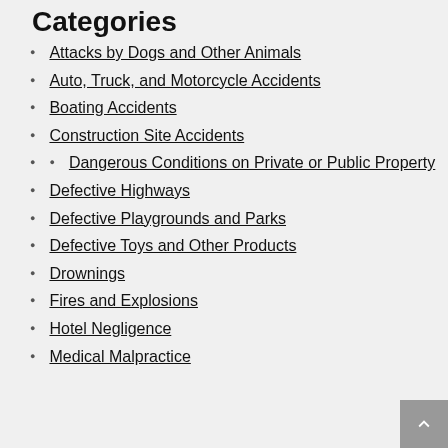Categories
Attacks by Dogs and Other Animals
Auto, Truck, and Motorcycle Accidents
Boating Accidents
Construction Site Accidents
Dangerous Conditions on Private or Public Property
Defective Highways
Defective Playgrounds and Parks
Defective Toys and Other Products
Drownings
Fires and Explosions
Hotel Negligence
Medical Malpractice